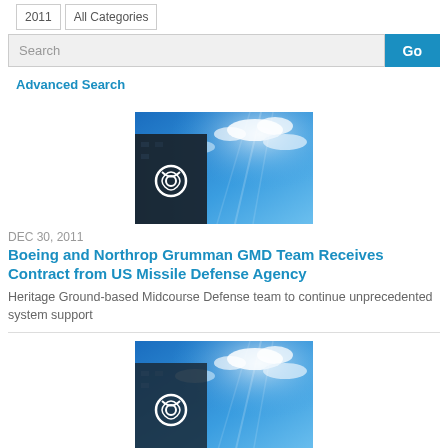[Figure (screenshot): Search interface with filter boxes showing '2011' and 'All Categories', a search input box, and a blue 'Go' button]
Advanced Search
[Figure (photo): Boeing logo building against blue sky with clouds and sunlight]
DEC 30, 2011
Boeing and Northrop Grumman GMD Team Receives Contract from US Missile Defense Agency
Heritage Ground-based Midcourse Defense team to continue unprecedented system support
[Figure (photo): Boeing logo building against blue sky with clouds and sunlight]
DEC 29, 2011
Boeing Statement on Saudi Arabia Purchase Agreement